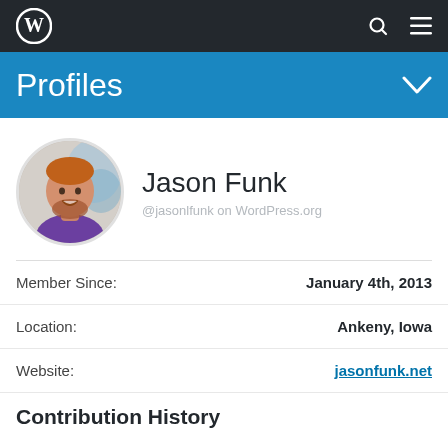WordPress navigation bar with logo, search, and menu icons
Profiles
[Figure (photo): Circular profile photo of Jason Funk, a man with red hair and beard wearing a purple shirt, smiling]
Jason Funk
@jasonlfunk on WordPress.org
| Field | Value |
| --- | --- |
| Member Since: | January 4th, 2013 |
| Location: | Ankeny, Iowa |
| Website: | jasonfunk.net |
Contribution History